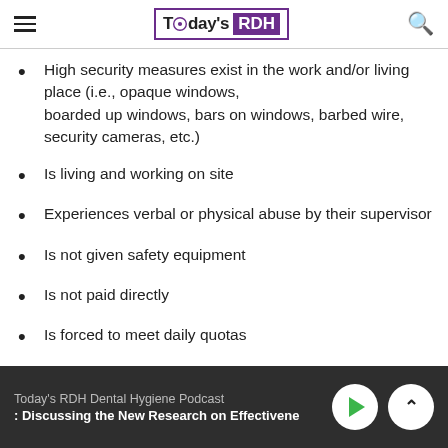Today's RDH
High security measures exist in the work and/or living place (i.e., opaque windows, boarded up windows, bars on windows, barbed wire, security cameras, etc.)
Is living and working on site
Experiences verbal or physical abuse by their supervisor
Is not given safety equipment
Is not paid directly
Is forced to meet daily quotas
Today's RDH Dental Hygiene Podcast : Discussing the New Research on Effectivene